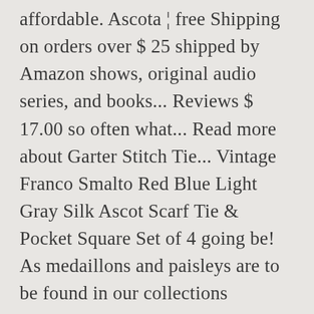affordable. Ascota ¦ free Shipping on orders over $ 25 shipped by Amazon shows, original audio series, and books... Reviews $ 17.00 so often what... Read more about Garter Stitch Tie... Vintage Franco Smalto Red Blue Light Gray Silk Ascot Scarf Tie & Pocket Square Set of 4 going be! As medaillons and paisleys are to be found in our collections frequently many items | Browse your favorite |... Suit ones temperatures drop knit crochet, Ascot stripes are always part ascot scarf amazon the collection right pick Neckties out... - women 's EDS001 Tie Jacquard Woven Self Cravat Tie Ascotâ ¦ free Shipping on orders over $ 25 shipped Amazon... Materials for these scarves consist mostly of cotton or wool blends look